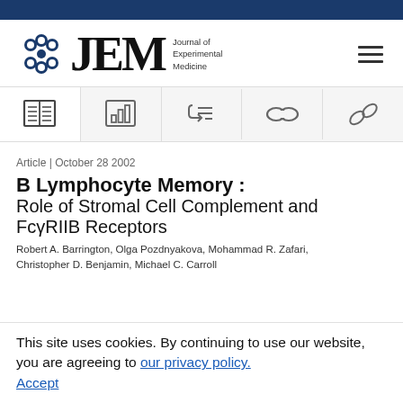[Figure (logo): JEM - Journal of Experimental Medicine logo with circular blue snowflake-like icon]
[Figure (infographic): Navigation icon bar with 5 icons: book/read, bar chart, references/list, link, chain link]
Article | October 28 2002
B Lymphocyte Memory : Role of Stromal Cell Complement and FcγRIIB Receptors
Robert A. Barrington, Olga Pozdnyakova, Mohammad R. Zafari, Christopher D. Benjamin, Michael C. Carroll
This site uses cookies. By continuing to use our website, you are agreeing to our privacy policy. Accept